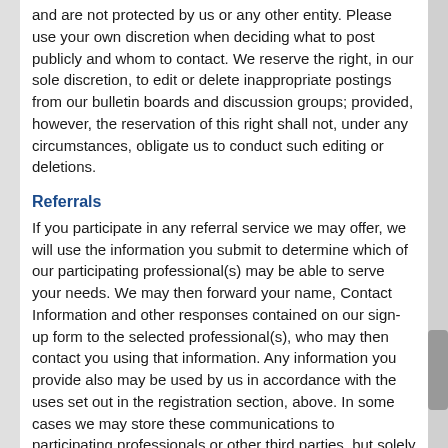and are not protected by us or any other entity. Please use your own discretion when deciding what to post publicly and whom to contact. We reserve the right, in our sole discretion, to edit or delete inappropriate postings from our bulletin boards and discussion groups; provided, however, the reservation of this right shall not, under any circumstances, obligate us to conduct such editing or deletions.
Referrals
If you participate in any referral service we may offer, we will use the information you submit to determine which of our participating professional(s) may be able to serve your needs. We may then forward your name, Contact Information and other responses contained on our sign-up form to the selected professional(s), who may then contact you using that information. Any information you provide also may be used by us in accordance with the uses set out in the registration section, above. In some cases we may store these communications to participating professionals or other third parties, but solely for the purpose of assisting the professional in tracking their communications.